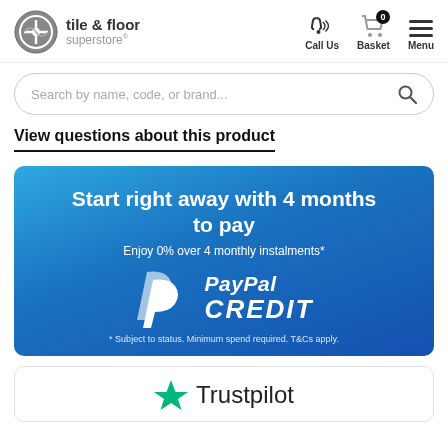[Figure (logo): Tile & Floor Superstore logo with circular icon and text]
[Figure (infographic): Navigation icons: phone (Call Us), shopping cart with badge 0 (Basket), hamburger menu (Menu)]
[Figure (screenshot): Search bar with placeholder text 'Search by name, code, or brand...' and magnifying glass icon]
View questions about this product
[Figure (infographic): PayPal Credit promotional banner. Blue gradient background. Text: 'Start right away with 4 months to pay', 'Enjoy 0% over 4 monthly instalments*', PayPal CREDIT logo, '* Subject to status. Minimum spend required. T&Cs apply.']
[Figure (logo): Trustpilot logo with green star and Trustpilot wordmark]